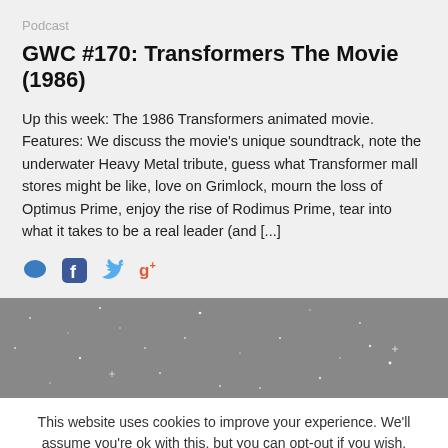Podcast
GWC #170: Transformers The Movie (1986)
Up this week: The 1986 Transformers animated movie. Features: We discuss the movie’s unique soundtrack, note the underwater Heavy Metal tribute, guess what Transformer mall stores might be like, love on Grimlock, mourn the loss of Optimus Prime, enjoy the rise of Rodimus Prime, tear into what it takes to be a real leader (and [...])
[Figure (illustration): Social sharing icons: comment bubble, Facebook, Twitter, Google+]
[Figure (photo): Dark starfield/space background image with scattered white star dots on grey background]
This website uses cookies to improve your experience. We’ll assume you’re ok with this, but you can opt-out if you wish.
Accept   Read More